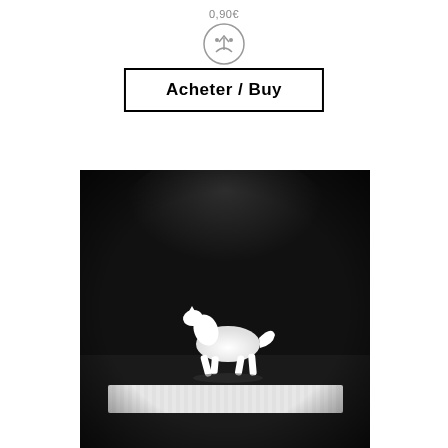[Figure (other): Price tag icon with '0,90€' text above a circle with upward arrow/sad face symbol]
Acheter / Buy
[Figure (photo): Black and white photograph of a white horse figurine/toy running across a dark background, with a blurred white rectangular element at the bottom of the image]